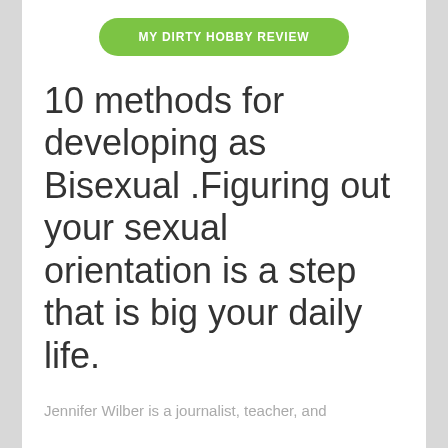[Figure (other): Green rounded button with white uppercase text reading 'MY DIRTY HOBBY REVIEW']
10 methods for developing as Bisexual .Figuring out your sexual orientation is a step that is big your daily life.
Jennifer Wilber is a journalist, teacher, and bisexual rights activist from Ohio.
You should...